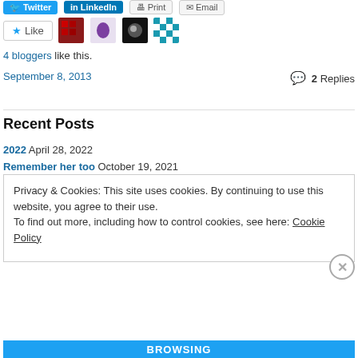[Figure (screenshot): Share buttons: Twitter (blue), LinkedIn (blue), Print, Email]
[Figure (photo): Like button and four blogger avatar thumbnails]
4 bloggers like this.
September 8, 2013   💬 2 Replies
Recent Posts
2022   April 28, 2022
Remember her too   October 19, 2021
Privacy & Cookies: This site uses cookies. By continuing to use this website, you agree to their use.
To find out more, including how to control cookies, see here: Cookie Policy
Close and accept